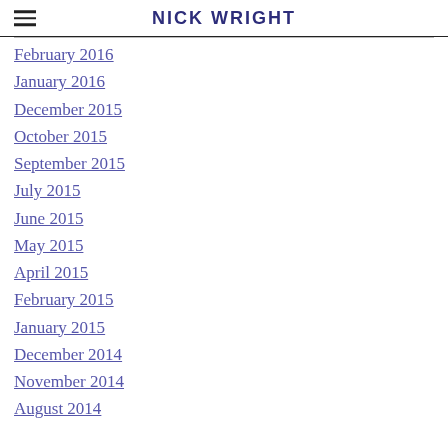NICK WRIGHT
February 2016
January 2016
December 2015
October 2015
September 2015
July 2015
June 2015
May 2015
April 2015
February 2015
January 2015
December 2014
November 2014
August 2014